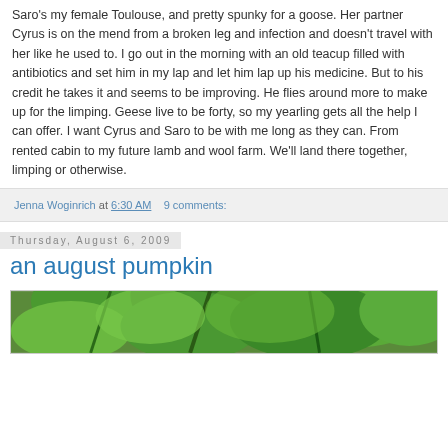Saro's my female Toulouse, and pretty spunky for a goose. Her partner Cyrus is on the mend from a broken leg and infection and doesn't travel with her like he used to. I go out in the morning with an old teacup filled with antibiotics and set him in my lap and let him lap up his medicine. But to his credit he takes it and seems to be improving. He flies around more to make up for the limping. Geese live to be forty, so my yearling gets all the help I can offer. I want Cyrus and Saro to be with me long as they can. From rented cabin to my future lamb and wool farm. We'll land there together, limping or otherwise.
Jenna Woginrich at 6:30 AM   9 comments:
Thursday, August 6, 2009
an august pumpkin
[Figure (photo): Green leafy plant photo, likely a pumpkin vine with large green leaves]